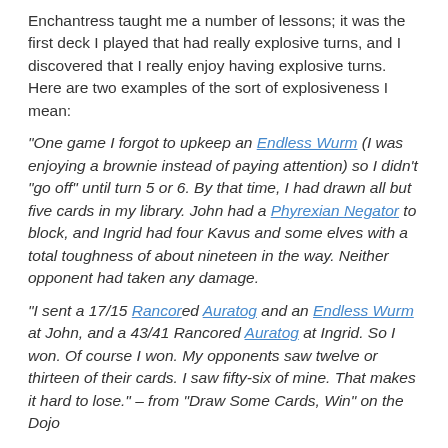Enchantress taught me a number of lessons; it was the first deck I played that had really explosive turns, and I discovered that I really enjoy having explosive turns. Here are two examples of the sort of explosiveness I mean:
"One game I forgot to upkeep an Endless Wurm (I was enjoying a brownie instead of paying attention) so I didn't "go off" until turn 5 or 6. By that time, I had drawn all but five cards in my library. John had a Phyrexian Negator to block, and Ingrid had four Kavus and some elves with a total toughness of about nineteen in the way. Neither opponent had taken any damage.
"I sent a 17/15 Rancored Auratog and an Endless Wurm at John, and a 43/41 Rancored Auratog at Ingrid. So I won. Of course I won. My opponents saw twelve or thirteen of their cards. I saw fifty-six of mine. That makes it hard to lose." – from "Draw Some Cards, Win" on the Dojo
"The Endless Wurms were there for fun, but you generally